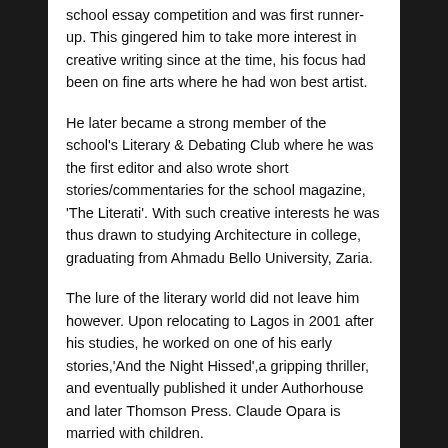school essay competition and was first runner-up. This gingered him to take more interest in creative writing since at the time, his focus had been on fine arts where he had won best artist.
He later became a strong member of the school's Literary & Debating Club where he was the first editor and also wrote short stories/commentaries for the school magazine, 'The Literati'. With such creative interests he was thus drawn to studying Architecture in college, graduating from Ahmadu Bello University, Zaria.
The lure of the literary world did not leave him however. Upon relocating to Lagos in 2001 after his studies, he worked on one of his early stories,'And the Night Hissed',a gripping thriller, and eventually published it under Authorhouse and later Thomson Press. Claude Opara is married with children.
Claude has also written books with pan-africanist themes. His work is starting to attract critical acclamation from very